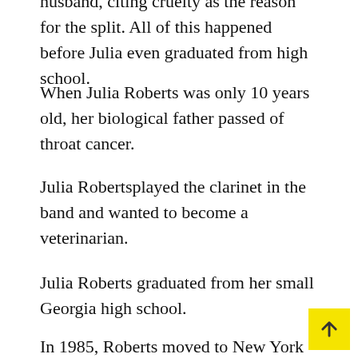husband, citing cruelty as the reason for the split. All of this happened before Julia even graduated from high school.
When Julia Roberts was only 10 years old, her biological father passed of throat cancer.
Julia Robertsplayed the clarinet in the band and wanted to become a veterinarian.
Julia Roberts graduated from her small Georgia high school.
In 1985, Roberts moved to New York City, signed with a modelling agency, and started taking acting classes.
Julia Roberts never dreamt to be an actor. As child